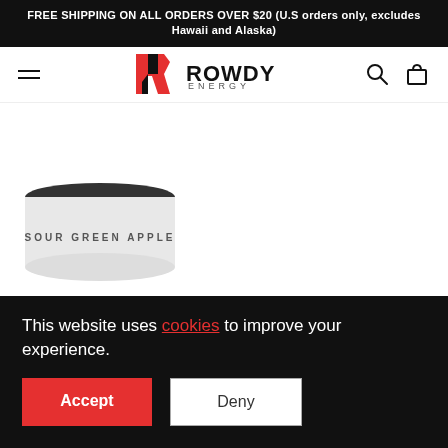FREE SHIPPING ON ALL ORDERS OVER $20 (U.S orders only, excludes Hawaii and Alaska)
[Figure (logo): Rowdy Energy logo with red and black stylized R and text ROWDY ENERGY]
[Figure (photo): Partial product image of a Rowdy Energy can labeled SOUR GREEN APPLE]
This website uses cookies to improve your experience.
Accept
Deny